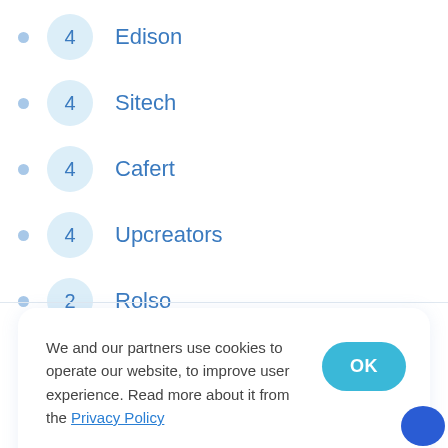4 Edison
4 Sitech
4 Cafert
4 Upcreators
2 Rolso
We and our partners use cookies to operate our website, to improve user experience. Read more about it from the Privacy Policy
OK